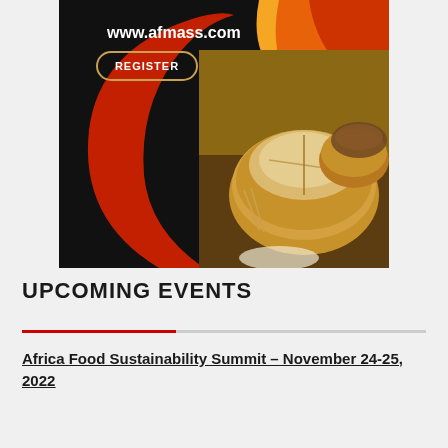[Figure (infographic): AFMASS event banner with black background, orange/red swoosh design, bread/bakery photo, www.afmass.com URL and REGISTER button]
UPCOMING EVENTS
Africa Food Sustainability Summit – November 24-25, 2022